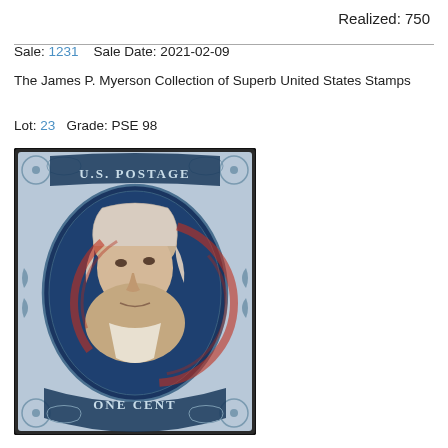Realized: 750
Sale: 1231   Sale Date: 2021-02-09
The James P. Myerson Collection of Superb United States Stamps
Lot: 23   Grade: PSE 98
[Figure (photo): A U.S. one-cent blue stamp depicting Benjamin Franklin (U.S. Postage One Cent), with a red cancellation mark overlaid on the stamp image.]